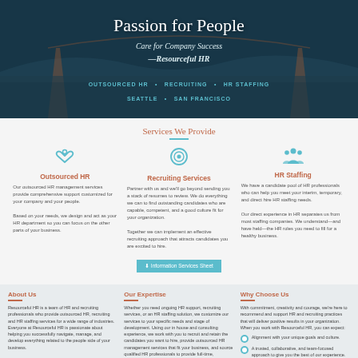[Figure (photo): Hero banner with teal/dark overlay showing a bridge (Golden Gate) and centered text]
Passion for People
Care for Company Success
—Resourceful HR
OUTSOURCED HR  •  RECRUITING  •  HR STAFFING
SEATTLE  •  SAN FRANCISCO
Services We Provide
Outsourced HR
Our outsourced HR management services provide comprehensive support customized for your company and your people.
Based on your needs, we design and act as your HR department so you can focus on the other parts of your business.
Recruiting Services
Partner with us and we'll go beyond sending you a stack of resumes to review. We do everything we can to find outstanding candidates who are capable, competent, and a good culture fit for your organization.
Together we can implement an effective recruiting approach that attracts candidates you are excited to hire.
HR Staffing
We have a candidate pool of HR professionals who can help you meet your interim, temporary, and direct hire HR staffing needs.
Our direct experience in HR separates us from most staffing companies. We understand—and have held—the HR roles you need to fill for a healthy business.
⬇ Information Services Sheet
About Us
Resourceful HR is a team of HR and recruiting professionals who provide outsourced HR, recruiting and HR staffing services for a wide range of industries. Everyone at Resourceful HR is passionate about helping you successfully navigate, manage, and develop everything related to the people side of your business.
Read More
Our Expertise
Whether you need ongoing HR support, recruiting services, or an HR staffing solution, we customize our services to your specific needs and stage of development. Using our in house and consulting experience, we work with you to recruit and retain the candidates you want to hire, provide outsourced HR management services that fit your business, and source qualified HR professionals to provide full-time, temporary support.
Outsourced HR
Recruiting Services
Why Choose Us
With commitment, creativity and courage, we're here to recommend and support HR and recruiting practices that will deliver positive results in your organization. When you work with Resourceful HR, you can expect:
Alignment with your unique goals and culture.
A trusted, collaborative, and team-focused approach to give you the best of our experience.
Questions and suggestions that provide ideas...